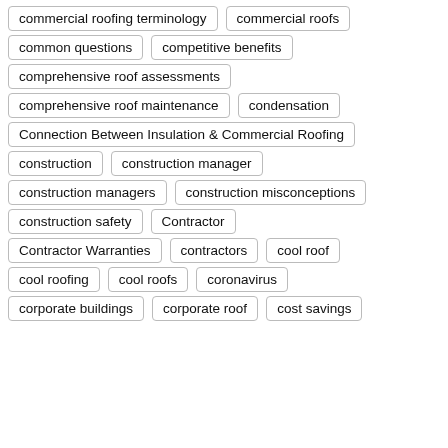commercial roofing terminology
commercial roofs
common questions
competitive benefits
comprehensive roof assessments
comprehensive roof maintenance
condensation
Connection Between Insulation & Commercial Roofing
construction
construction manager
construction managers
construction misconceptions
construction safety
Contractor
Contractor Warranties
contractors
cool roof
cool roofing
cool roofs
coronavirus
corporate buildings
corporate roof
cost savings